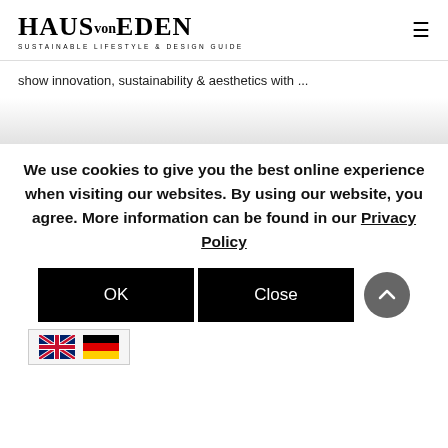HAUS von EDEN — SUSTAINABLE LIFESTYLE & DESIGN GUIDE
show innovation, sustainability & aesthetics with ...
We use cookies to give you the best online experience when visiting our websites. By using our website, you agree. More information can be found in our Privacy Policy
OK  Close